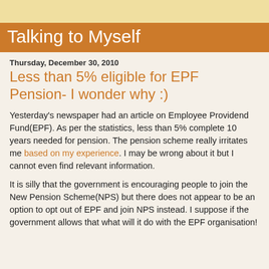Talking to Myself
Thursday, December 30, 2010
Less than 5% eligible for EPF Pension- I wonder why :)
Yesterday's newspaper had an article on Employee Providend Fund(EPF). As per the statistics, less than 5% complete 10 years needed for pension. The pension scheme really irritates me based on my experience. I may be wrong about it but I cannot even find relevant information.
It is silly that the government is encouraging people to join the New Pension Scheme(NPS) but there does not appear to be an option to opt out of EPF and join NPS instead. I suppose if the government allows that what will it do with the EPF organisation!